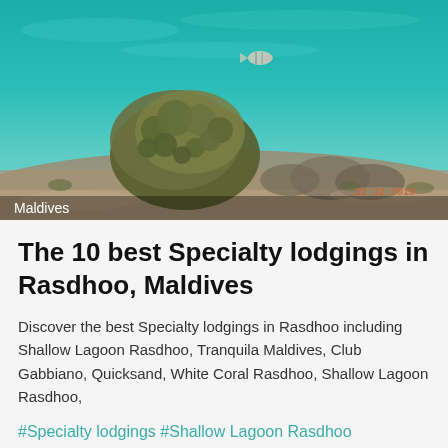[Figure (photo): Underwater photograph of a coral reef in Maldives with fish, coral formations, sandy seafloor with teal/turquoise water. Date stamp '22 12 2019' visible in lower right. 'Maldives' label overlaid at bottom left.]
The 10 best Specialty lodgings in Rasdhoo, Maldives
Discover the best Specialty lodgings in Rasdhoo including Shallow Lagoon Rasdhoo, Tranquila Maldives, Club Gabbiano, Quicksand, White Coral Rasdhoo, Shallow Lagoon Rasdhoo,
#Specialty lodgings #Shallow Lagoon Rasdhoo #Tranquila Maldives #Club Gabbiano #Quicksand #White Coral Rasdhoo